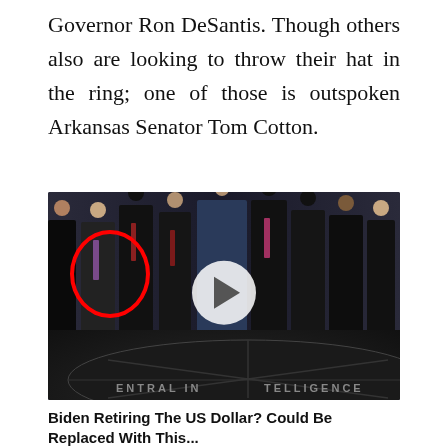Governor Ron DeSantis. Though others also are looking to throw their hat in the ring; one of those is outspoken Arkansas Senator Tom Cotton.
[Figure (photo): Group photo of men in suits standing on the CIA headquarters lobby floor (showing the Central Intelligence Agency seal). One person on the left is highlighted with a red circle. A video play button overlay appears in the center.]
Biden Retiring The US Dollar? Could Be Replaced With This...
Sponsored Content: Currency upheavals happen about every